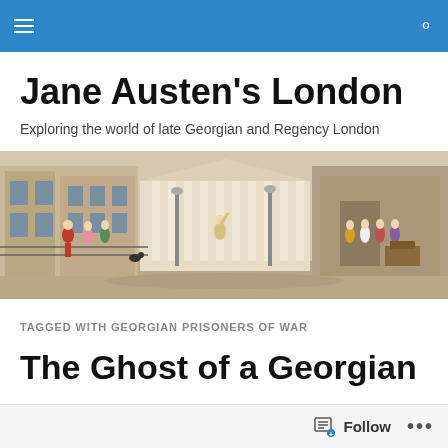Navigation bar with hamburger menu and search icon
Jane Austen's London
Exploring the world of late Georgian and Regency London
[Figure (illustration): A coloured historical illustration of a Georgian London street scene with columned building in background, people in Regency-era dress walking and gathered on the street.]
TAGGED WITH GEORGIAN PRISONERS OF WAR
The Ghost of a Georgian
Follow